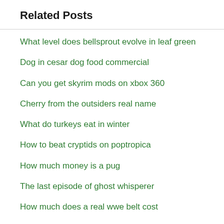Related Posts
What level does bellsprout evolve in leaf green
Dog in cesar dog food commercial
Can you get skyrim mods on xbox 360
Cherry from the outsiders real name
What do turkeys eat in winter
How to beat cryptids on poptropica
How much money is a pug
The last episode of ghost whisperer
How much does a real wwe belt cost
How do you say merry christmas in switzerland